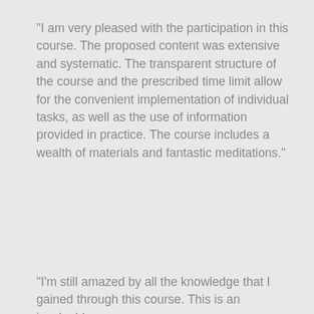"I am very pleased with the participation in this course. The proposed content was extensive and systematic. The transparent structure of the course and the prescribed time limit allow for the convenient implementation of individual tasks, as well as the use of information provided in practice. The course includes a wealth of materials and fantastic meditations."
[Figure (logo): RHA Academy circular logo with teal/green color, text reading REIKI HEALING ASSOCIATION around the border, RHA in center with a leaf icon and Academy text below]
MARCIN SZMAGAŁA
RMT
"I'm still amazed by all the knowledge that I gained through this course. This is an invaluable